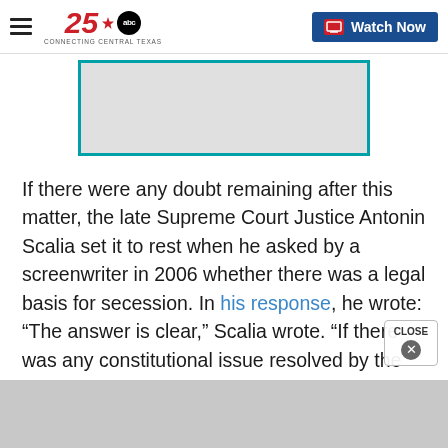25 ABC Connecting Central Texas — Watch Now
[Figure (photo): Partially visible image with teal/cyan border, content not fully visible]
If there were any doubt remaining after this matter, the late Supreme Court Justice Antonin Scalia set it to rest when he asked by a screenwriter in 2006 whether there was a legal basis for secession. In his response, he wrote: “The answer is clear,” Scalia wrote. “If there was any constitutional issue resolved by the Civil War, it is that there is no right to secede. (Hence, in the Pledge of Allegiance, ‘one Nation, indivisible.’)”